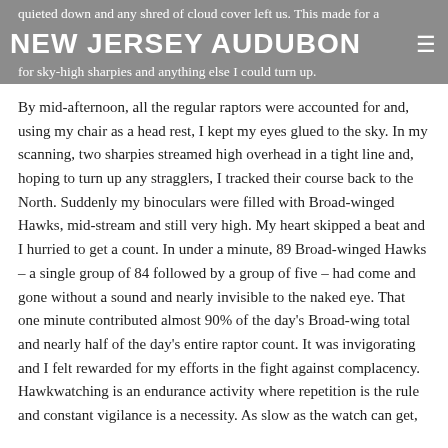NEW JERSEY AUDUBON
quieted down and any shred of cloud cover left us. This made for a brilliant conditions of a cloudless sky. Looking straight up for sky-high sharpies and anything else I could turn up.
By mid-afternoon, all the regular raptors were accounted for and, using my chair as a head rest, I kept my eyes glued to the sky. In my scanning, two sharpies streamed high overhead in a tight line and, hoping to turn up any stragglers, I tracked their course back to the North. Suddenly my binoculars were filled with Broad-winged Hawks, mid-stream and still very high. My heart skipped a beat and I hurried to get a count. In under a minute, 89 Broad-winged Hawks – a single group of 84 followed by a group of five – had come and gone without a sound and nearly invisible to the naked eye. That one minute contributed almost 90% of the day's Broad-wing total and nearly half of the day's entire raptor count. It was invigorating and I felt rewarded for my efforts in the fight against complacency. Hawkwatching is an endurance activity where repetition is the rule and constant vigilance is a necessity. As slow as the watch can get,